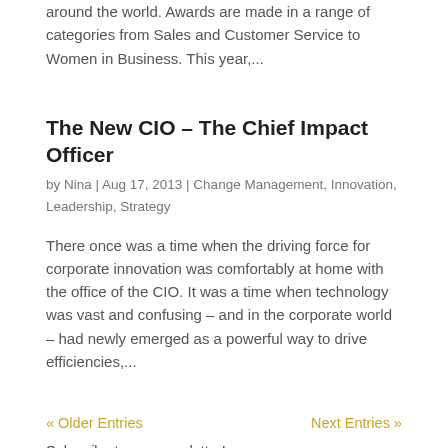around the world. Awards are made in a range of categories from Sales and Customer Service to Women in Business. This year,...
The New CIO – The Chief Impact Officer
by Nina | Aug 17, 2013 | Change Management, Innovation, Leadership, Strategy
There once was a time when the driving force for corporate innovation was comfortably at home with the office of the CIO. It was a time when technology was vast and confusing – and in the corporate world – had newly emerged as a powerful way to drive efficiencies,...
« Older Entries    Next Entries »
Subscribe to our newsletter!
Email